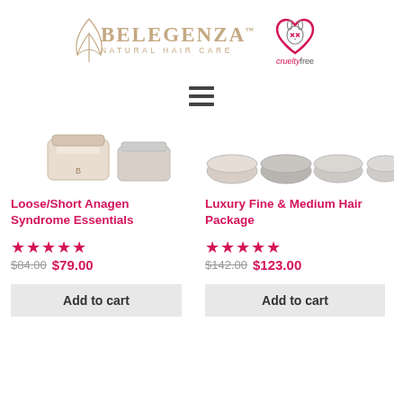[Figure (logo): Belegenza Natural Hair Care logo with stylized wing/Y mark and Cruelty Free badge with bunny icon]
[Figure (other): Hamburger/menu icon (three horizontal lines)]
[Figure (photo): Product image for Loose/Short Anagen Syndrome Essentials showing two cream jars]
Loose/Short Anagen Syndrome Essentials
★★★★★
$84.00 $79.00
Add to cart
[Figure (photo): Product image for Luxury Fine & Medium Hair Package showing four round containers]
Luxury Fine & Medium Hair Package
★★★★★
$142.00 $123.00
Add to cart